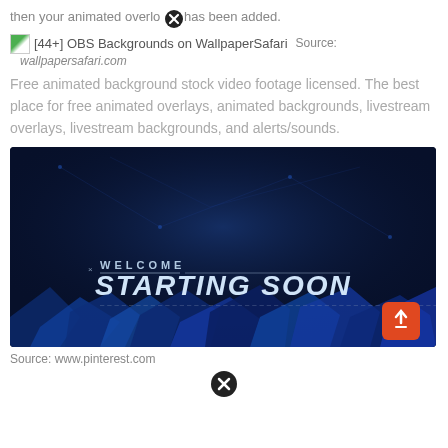then your animated overlay has been added.
[44+] OBS Backgrounds on WallpaperSafari  Source: wallpapersafari.com
Free animated background stock video footage licensed. The best place for free animated overlays, animated backgrounds, livestream overlays, livestream backgrounds, and alerts/sounds.
[Figure (screenshot): Dark blue animated background with 'WELCOME STARTING SOON' overlay text in a futuristic style, with geometric blue crystal shapes at the bottom and an orange/red upload arrow button in the bottom-right corner.]
Source: www.pinterest.com